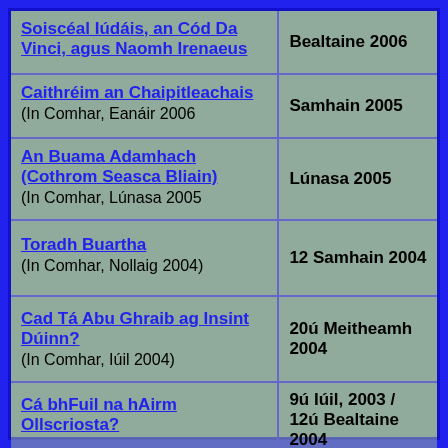| Title | Date |
| --- | --- |
| Soiscéal Iúdáis, an Cód Da Vinci, agus Naomh Irenaeus | Bealtaine 2006 |
| Caithréim an Chaipitleachais (In Comhar, Eanáir 2006 | Samhain 2005 |
| An Buama Adamhach (Cothrom Seasca Bliain) (In Comhar, Lúnasa 2005 | Lúnasa 2005 |
| Toradh Buartha (In Comhar, Nollaig 2004) | 12 Samhain 2004 |
| Cad Tá Abu Ghraib ag Insint Dúinn? (In Comhar, Iúil 2004) | 20ú Meitheamh 2004 |
| Cá bhFuil na hAirm Ollscriosta? | 9ú Iúil, 2003 / 12ú Bealtaine 2004 |